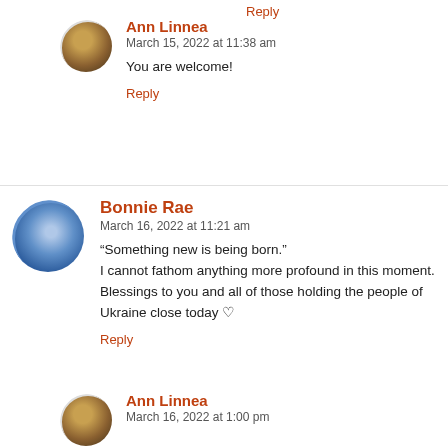Reply
Ann Linnea
March 15, 2022 at 11:38 am
You are welcome!
Reply
Bonnie Rae
March 16, 2022 at 11:21 am
“Something new is being born.”
I cannot fathom anything more profound in this moment. Blessings to you and all of those holding the people of Ukraine close today ♡
Reply
Ann Linnea
March 16, 2022 at 1:00 pm